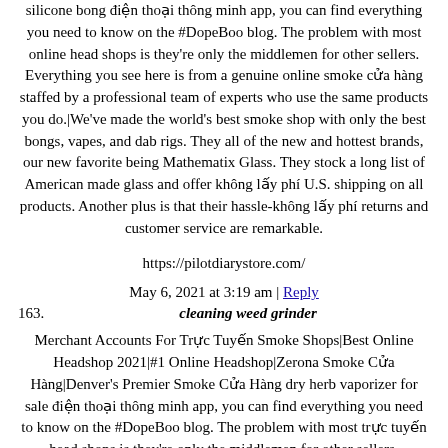silicone bong điện thoại thông minh app, you can find everything you need to know on the #DopeBoo blog. The problem with most online head shops is they're only the middlemen for other sellers. Everything you see here is from a genuine online smoke cửa hàng staffed by a professional team of experts who use the same products you do.|We've made the world's best smoke shop with only the best bongs, vapes, and dab rigs. They all of the new and hottest brands, our new favorite being Mathematix Glass. They stock a long list of American made glass and offer không lấy phí U.S. shipping on all products. Another plus is that their hassle-không lấy phí returns and customer service are remarkable.
https://pilotdiarystore.com/
May 6, 2021 at 3:19 am | Reply
163. cleaning weed grinder
Merchant Accounts For Trực Tuyến Smoke Shops|Best Online Headshop 2021|#1 Online Headshop|Zerona Smoke Cửa Hàng|Denver's Premier Smoke Cửa Hàng dry herb vaporizer for sale điện thoại thông minh app, you can find everything you need to know on the #DopeBoo blog. The problem with most trực tuyến head shops is they're only the middlemen for other sellers. Everything you see here is from